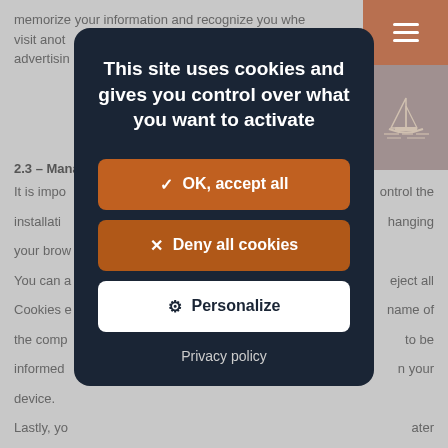memorize your information and recognize you when visit another... advertising...
2.3 – Mana...
It is impo... ontrol the installation... hanging your brow...
You can a... eject all Cookies e... name of the comp... to be informed... n your device.
Lastly, yo... ater control ov... temporarily accepting or refusing Cookies before they are
[Figure (screenshot): Cookie consent modal dialog on a website. Dark navy blue rounded rectangle modal with title 'This site uses cookies and gives you control over what you want to activate', three buttons: orange 'OK, accept all', orange 'Deny all cookies', white 'Personalize', and a 'Privacy policy' link. Background shows partially visible website content with a terracotta/brown header bar with hamburger menu and sailboat icon.]